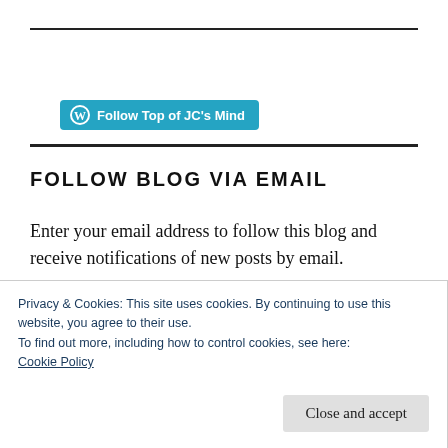[Figure (logo): WordPress follow button: blue rounded rectangle with W icon and text 'Follow Top of JC's Mind']
FOLLOW BLOG VIA EMAIL
Enter your email address to follow this blog and receive notifications of new posts by email.
Privacy & Cookies: This site uses cookies. By continuing to use this website, you agree to their use.
To find out more, including how to control cookies, see here:
Cookie Policy
Close and accept